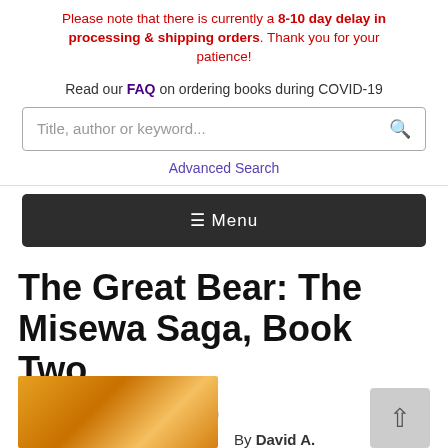Please note that there is currently a 8-10 day delay in processing & shipping orders. Thank you for your patience!
Read our FAQ on ordering books during COVID-19
[Figure (screenshot): Search input box with placeholder text 'Title, author or keyword...' and a search icon on the right]
Advanced Search
[Figure (screenshot): Dark navigation menu bar with hamburger icon and 'Menu' text in white]
The Great Bear: The Misewa Saga, Book Two (Hardcover)
By David A.
[Figure (illustration): Book cover with orange/golden illustrated design, partially visible at bottom left]
[Figure (screenshot): Back to top button, grey rounded square with upward arrow]